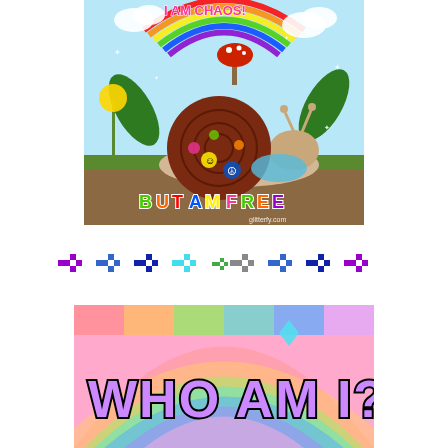[Figure (illustration): Colorful glitter graphic of a snail with a decorated shell (peace sign, smiley face, rainbows, hearts) in a garden scene with a rainbow, mushroom, dandelion, and green leaves. Text at top reads 'I AM CHAOS' and at bottom 'BUT AM FREE'. Watermark: glitterfy.com]
[Figure (illustration): A row of pixel-art cross/plus shapes in various colors: purple, blue, dark blue, cyan, green, gray, blue, dark blue, purple — forming a decorative divider]
[Figure (illustration): Colorful rainbow-striped banner image with text 'WHO AM I?' in large bubbly multicolored outlined letters with a black drop shadow, against a pastel rainbow arc background]